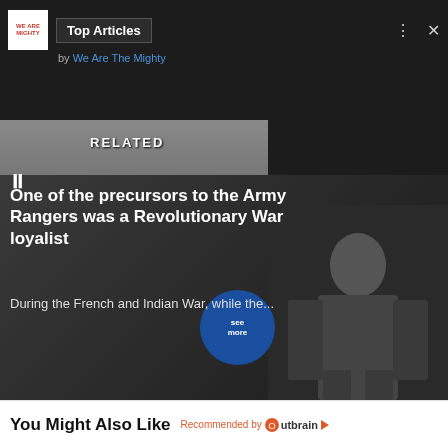[Figure (screenshot): Top Articles widget overlay from 'We Are The Mighty' with logo, article header bar, close and dots buttons, on dark background]
by We Are The Mighty
[Figure (photo): Dark panel showing text: 'This machine gun tried (and failed) to replace the Ma Deuce']
This machine gun tried (and failed) to replace the Ma Deuce
RELATED
One of the precursors to the Army Rangers was a Revolutionary War loyalist
During the French and Indian War, while the...
You Might Also Like
Recommended by Outbrain
[Figure (photo): Partially visible thumbnail images of articles at the bottom of the page, showing people with headphones in an office setting]